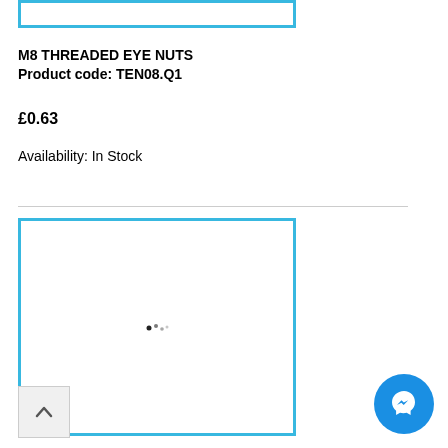[Figure (other): Top partial product image placeholder with cyan border, partially visible at top of page]
M8 THREADED EYE NUTS
Product code: TEN08.Q1
£0.63
Availability: In Stock
[Figure (photo): Product image box with cyan border showing a loading spinner in the center, image not yet loaded]